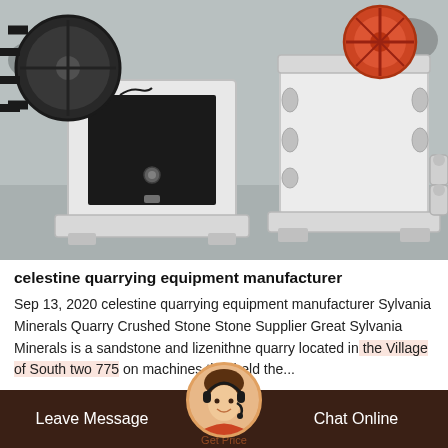[Figure (photo): Two white industrial jaw crusher machines on a gray factory floor. Left crusher shows the flywheel and drive belt mechanism; right crusher shows the frame and adjustment mechanism from the front.]
celestine quarrying equipment manufacturer
Sep 13, 2020 celestine quarrying equipment manufacturer Sylvania Minerals Quarry Crushed Stone Stone Supplier Great Sylvania Minerals is a sandstone and lizenithne quarry located in the Village of South two 775 on machines that held the...
Leave Message   Chat Online